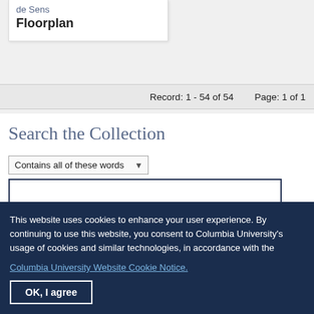de Sens
Floorplan
Record: 1 - 54 of 54     Page: 1 of 1
Search the Collection
Contains all of these words
This website uses cookies to enhance your user experience. By continuing to use this website, you consent to Columbia University's usage of cookies and similar technologies, in accordance with the Columbia University Website Cookie Notice.
OK, I agree